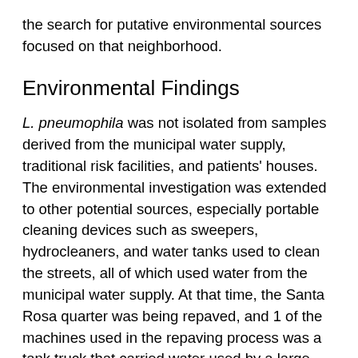the search for putative environmental sources focused on that neighborhood.
Environmental Findings
L. pneumophila was not isolated from samples derived from the municipal water supply, traditional risk facilities, and patients' houses. The environmental investigation was extended to other potential sources, especially portable cleaning devices such as sweepers, hydrocleaners, and water tanks used to clean the streets, all of which used water from the municipal water supply. At that time, the Santa Rosa quarter was being repaved, and 1 of the machines used in the repaving process was a tank truck that carried water used by a large milling machine. The water in the tank was obtained from a natural spring untreated with chlorine or anything else. Because the repaving